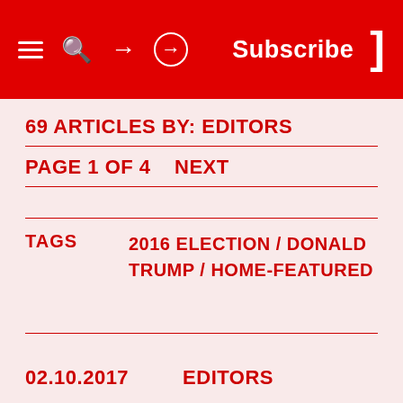☰ 🔍 ⊙  Subscribe ]
69 ARTICLES BY: EDITORS
PAGE 1 OF 4    NEXT
TAGS    2016 ELECTION / DONALD TRUMP / HOME-FEATURED
02.10.2017    EDITORS